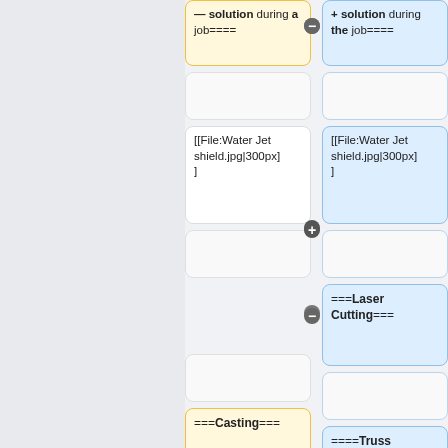— solution during a job====
+ solution during the job====
[[File:Water Jet shield.jpg|300px]]
[[File:Water Jet shield.jpg|300px]]
===Laser Cutting===
===Casting===
====Truss Project====
I modeled and 3D printed a shape with large draft angles to go
I made a Pratt Truss. I designed each component and assembled the